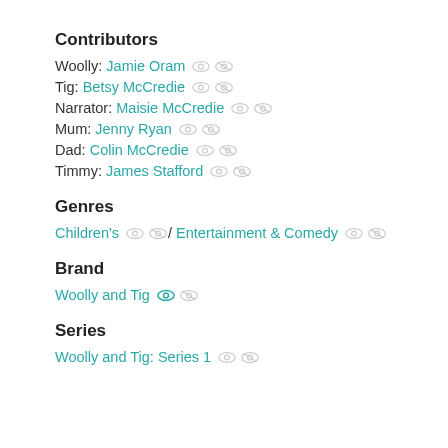Contributors
Woolly: Jamie Oram
Tig: Betsy McCredie
Narrator: Maisie McCredie
Mum: Jenny Ryan
Dad: Colin McCredie
Timmy: James Stafford
Genres
Children's / Entertainment & Comedy
Brand
Woolly and Tig
Series
Woolly and Tig: Series 1